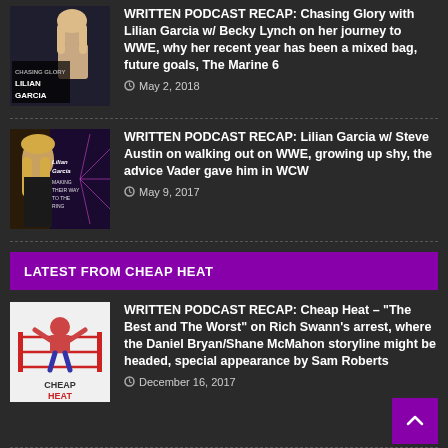[Figure (photo): Chasing Glory with Lilian Garcia podcast thumbnail showing a woman with blonde hair and podcast logo]
WRITTEN PODCAST RECAP: Chasing Glory with Lilian Garcia w/ Becky Lynch on her journey to WWE, why her recent year has been a mixed bag, future goals, The Marine 6
May 2, 2018
[Figure (photo): Lilian Garcia Making Their Way to the Ring podcast thumbnail showing Lilian Garcia with long blonde hair]
WRITTEN PODCAST RECAP: Lilian Garcia w/ Steve Austin on walking out on WWE, growing up shy, the advice Vader gave him in WCW
May 9, 2017
LATEST FROM CHEAP HEAT
[Figure (logo): Cheap Heat podcast logo showing a wrestler in a wrestling ring with CHEAP HEAT text]
WRITTEN PODCAST RECAP: Cheap Heat – "The Best and The Worst" on Rich Swann's arrest, where the Daniel Bryan/Shane McMahon storyline might be headed, special appearance by Sam Roberts
December 16, 2017